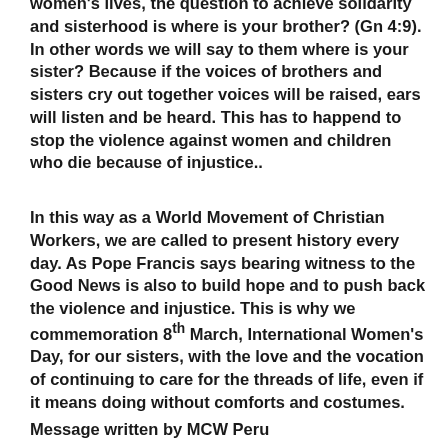women's lives, the question to achieve solidarity and sisterhood is where is your brother? (Gn 4:9). In other words we will say to them where is your sister? Because if the voices of brothers and sisters cry out together voices will be raised, ears will listen and be heard. This has to happend to stop the violence against women and children who die because of injustice..
In this way as a World Movement of Christian Workers, we are called to present history every day. As Pope Francis says bearing witness to the Good News is also to build hope and to push back the violence and injustice. This is why we commemoration 8th March, International Women's Day, for our sisters, with the love and the vocation of continuing to care for the threads of life, even if it means doing without comforts and costumes.
Message written by MCW Peru